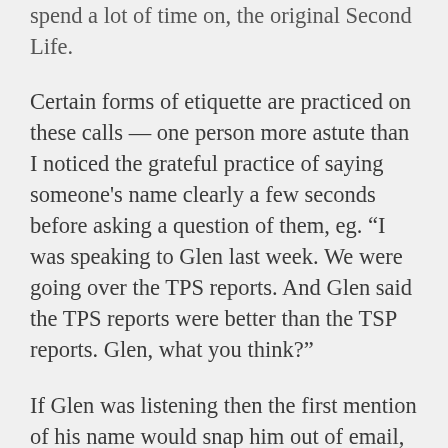spend a lot of time on, the original Second Life.
Certain forms of etiquette are practiced on these calls — one person more astute than I noticed the grateful practice of saying someone's name clearly a few seconds before asking a question of them, eg. “I was speaking to Glen last week. We were going over the TPS reports. And Glen said the TPS reports were better than the TSP reports. Glen, what you think?”
If Glen was listening then the first mention of his name would snap him out of email, and give him time to go off mute. Everyone goes on mute when they aren’t talking. Mainly so they can furiously Instant Message the other people